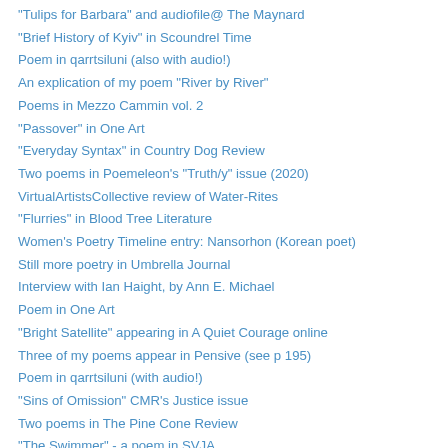"Tulips for Barbara" and audiofile@ The Maynard
"Brief History of Kyiv" in Scoundrel Time
Poem in qarrtsiluni (also with audio!)
An explication of my poem "River by River"
Poems in Mezzo Cammin vol. 2
"Passover" in One Art
"Everyday Syntax" in Country Dog Review
Two poems in Poemeleon's "Truth/y" issue (2020)
VirtualArtistsCollective review of Water-Rites
"Flurries" in Blood Tree Literature
Women's Poetry Timeline entry: Nansorhon (Korean poet)
Still more poetry in Umbrella Journal
Interview with Ian Haight, by Ann E. Michael
Poem in One Art
"Bright Satellite" appearing in A Quiet Courage online
Three of my poems appear in Pensive (see p 195)
Poem in qarrtsiluni (with audio!)
"Sins of Omission" CMR's Justice issue
Two poems in The Pine Cone Review
"The Swimmer" - a poem in SVJA